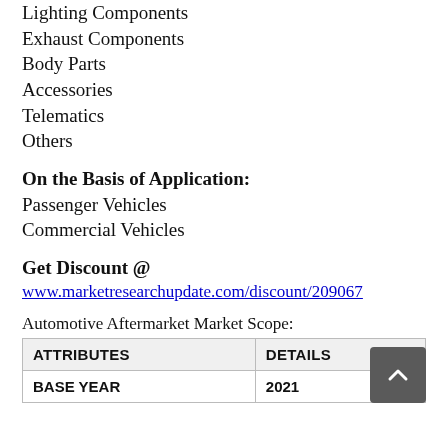Lighting Components
Exhaust Components
Body Parts
Accessories
Telematics
Others
On the Basis of Application:
Passenger Vehicles
Commercial Vehicles
Get Discount @
www.marketresearchupdate.com/discount/209067
Automotive Aftermarket Market Scope:
| ATTRIBUTES | DETAILS |
| --- | --- |
| BASE YEAR | 2021 |